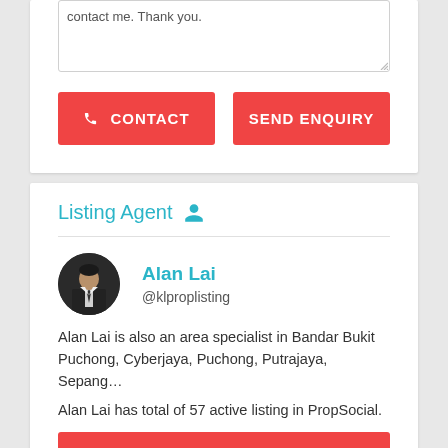[Figure (screenshot): A textarea input box with text 'contact me. Thank you.' and a resize handle at bottom right.]
CONTACT   SEND ENQUIRY
Listing Agent
[Figure (photo): Circular avatar photo of a man in a suit and tie (Alan Lai).]
Alan Lai
@klproplisting
Alan Lai is also an area specialist in Bandar Bukit Puchong, Cyberjaya, Puchong, Putrajaya, Sepang…
Alan Lai has total of 57 active listing in PropSocial.
CONTACT